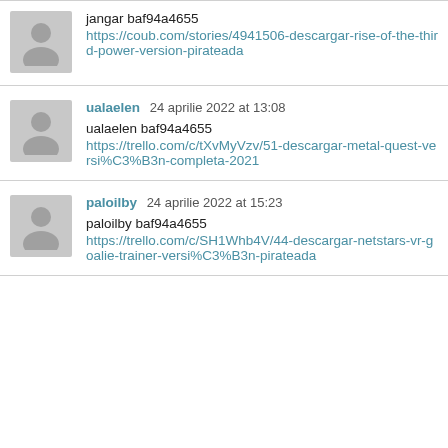jangar baf94a4655
https://coub.com/stories/4941506-descargar-rise-of-the-third-power-version-pirateada
ualaelen  24 aprilie 2022 at 13:08
ualaelen baf94a4655
https://trello.com/c/tXvMyVzv/51-descargar-metal-quest-versi%C3%B3n-completa-2021
paloilby  24 aprilie 2022 at 15:23
paloilby baf94a4655
https://trello.com/c/SH1Whb4V/44-descargar-netstars-vr-goalie-trainer-versi%C3%B3n-pirateada